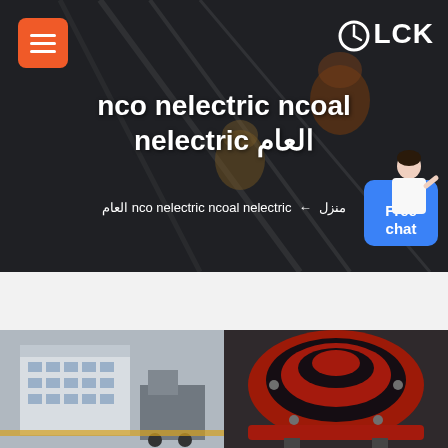[Figure (screenshot): Website screenshot showing a construction/engineering website header with dark overlay over construction workers background image]
nco nelectric ncoal nelectric العام
منزل ← nco nelectric ncoal nelectric العام
[Figure (photo): Left product photo: industrial building/factory with machinery]
[Figure (photo): Right product photo: large industrial red and black machinery/crusher equipment]